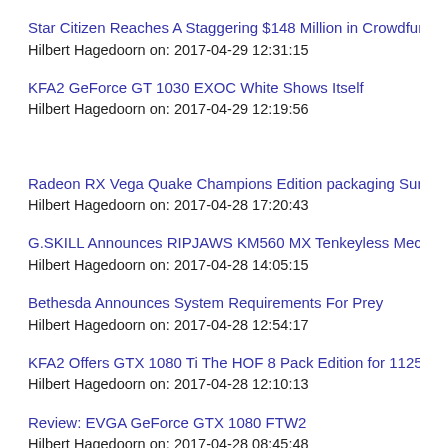Star Citizen Reaches A Staggering $148 Million in Crowdfunding
Hilbert Hagedoorn on: 2017-04-29 12:31:15
KFA2 GeForce GT 1030 EXOC White Shows Itself
Hilbert Hagedoorn on: 2017-04-29 12:19:56
Radeon RX Vega Quake Champions Edition packaging Surfaces
Hilbert Hagedoorn on: 2017-04-28 17:20:43
G.SKILL Announces RIPJAWS KM560 MX Tenkeyless Mechanical K
Hilbert Hagedoorn on: 2017-04-28 14:05:15
Bethesda Announces System Requirements For Prey
Hilbert Hagedoorn on: 2017-04-28 12:54:17
KFA2 Offers GTX 1080 Ti The HOF 8 Pack Edition for 1125 Euros
Hilbert Hagedoorn on: 2017-04-28 12:10:13
Review: EVGA GeForce GTX 1080 FTW2
Hilbert Hagedoorn on: 2017-04-28 08:45:48